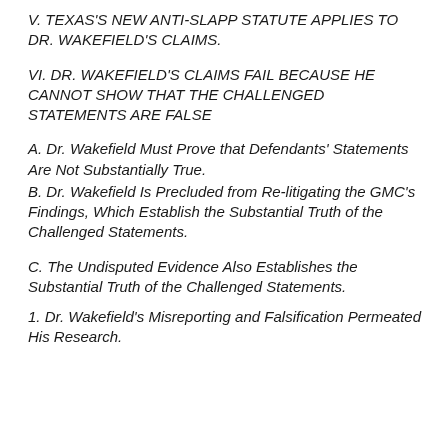V. TEXAS'S NEW ANTI-SLAPP STATUTE APPLIES TO DR. WAKEFIELD'S CLAIMS.
VI. DR. WAKEFIELD'S CLAIMS FAIL BECAUSE HE CANNOT SHOW THAT THE CHALLENGED STATEMENTS ARE FALSE
A. Dr. Wakefield Must Prove that Defendants' Statements Are Not Substantially True.
B. Dr. Wakefield Is Precluded from Re-litigating the GMC's Findings, Which Establish the Substantial Truth of the Challenged Statements.
C. The Undisputed Evidence Also Establishes the Substantial Truth of the Challenged Statements.
1. Dr. Wakefield's Misreporting and Falsification Permeated His Research.